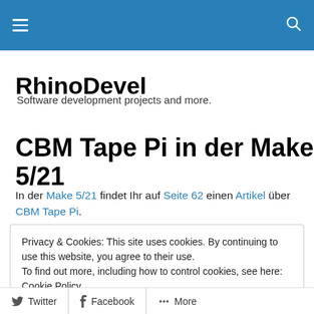RhinoDevel navigation bar
RhinoDevel
Software development projects and more.
CBM Tape Pi in der Make 5/21
In der Make 5/21 findet Ihr auf Seite 62 einen Artikel über CBM Tape Pi.
Privacy & Cookies: This site uses cookies. By continuing to use this website, you agree to their use. To find out more, including how to control cookies, see here: Cookie Policy
Twitter | Facebook | More